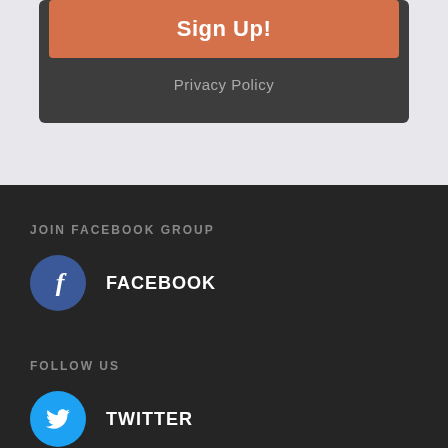Sign Up!
Privacy Policy
JOIN FACEBOOK GROUP
FACEBOOK
FOLLOW US
TWITTER